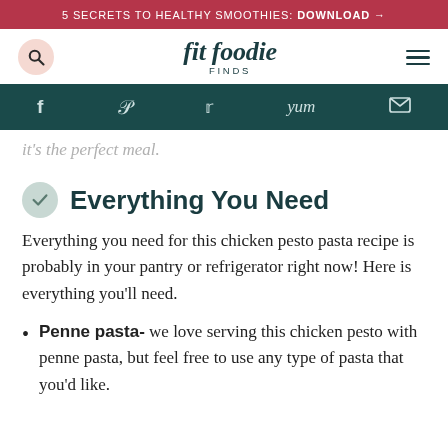5 SECRETS TO HEALTHY SMOOTHIES: DOWNLOAD →
[Figure (logo): Fit Foodie Finds logo with search icon on left and hamburger menu on right]
[Figure (infographic): Dark teal social sharing bar with icons for Facebook, Pinterest, Twitter, Yummly, and email]
it's the perfect meal.
Everything You Need
Everything you need for this chicken pesto pasta recipe is probably in your pantry or refrigerator right now! Here is everything you'll need.
Penne pasta- we love serving this chicken pesto with penne pasta, but feel free to use any type of pasta that you'd like.